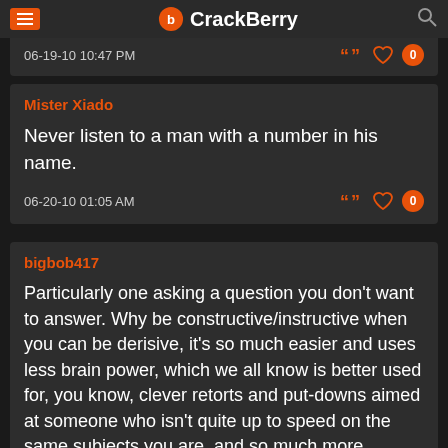CrackBerry
06-19-10 10:47 PM
Mister Xiado
Never listen to a man with a number in his name.
06-20-10 01:05 AM
bigbob417
Particularly one asking a question you don't want to answer. Why be constructive/instructive when you can be derisive, it's so much easier and uses less brain power, which we all know is better used for, you know, clever retorts and put-downs aimed at someone who isn't quite up to speed on the same subjects you are, and so much more